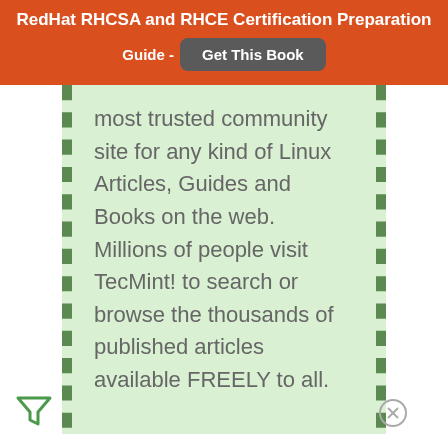RedHat RHCSA and RHCE Certification Preparation Guide - Get This Book
most trusted community site for any kind of Linux Articles, Guides and Books on the web. Millions of people visit TecMint! to search or browse the thousands of published articles available FREELY to all.
[Figure (infographic): Macy's lip product advertisement banner with 'KISS BORING LIPS GOODBYE' text, a woman's face with red lipstick, SHOP NOW button, and Macy's logo with star]